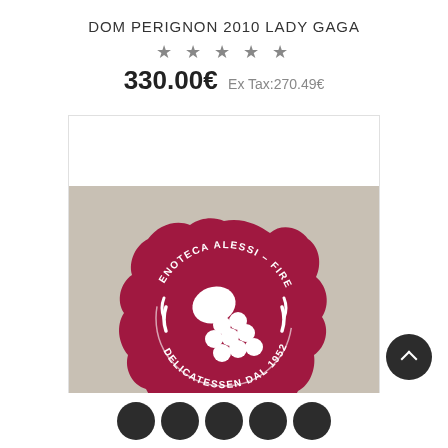DOM PERIGNON 2010 LADY GAGA
★ ★ ★ ★ ★
330.00€ Ex Tax:270.49€
[Figure (logo): Enoteca Alessi Firenze wax seal logo with grape cluster motif, text reading ENOTECA ALESSI - FIRENZE and DELICATESSEN DAL 1952, dark red/crimson color on beige background]